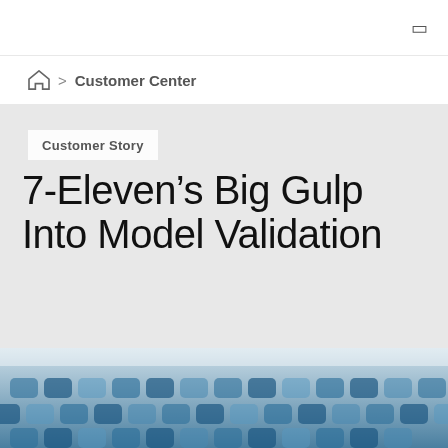☰
🏠 > Customer Center
Customer Story
7-Eleven's Big Gulp Into Model Validation
[Figure (photo): Abstract blue hexagonal pattern photo, partially visible at the bottom of the page]